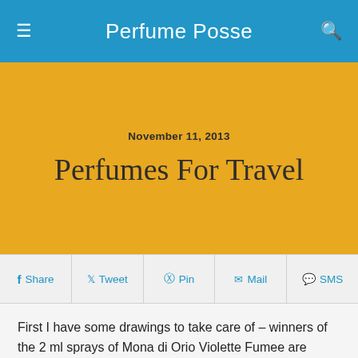Perfume Posse
Perfumes For Travel
November 11, 2013
Share  Tweet  Pin  Mail  SMS
First I have some drawings to take care of – winners of the 2 ml sprays of Mona di Orio Violette Fumee are Christine and Melissa Hathaway.  Winners of the Violet sample Set are – Mary K and Mary P.  Just click on the Drop Us a Note at the top of the blog or e-mail me at patty at perfumeposse dotcom with your address and a reminder of what you've won.  I'll send you back a